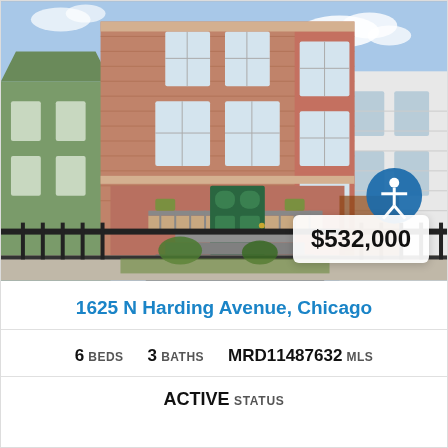[Figure (photo): Exterior photo of a multi-story brick building at 1625 N Harding Avenue, Chicago, with a green door, iron fence, and stairs leading to the entrance. A white price badge showing $532,000 is overlaid in the bottom right. An accessibility icon button appears near the bottom right.]
1625 N Harding Avenue, Chicago
6 BEDS   3 BATHS   MRD11487632 MLS
ACTIVE STATUS